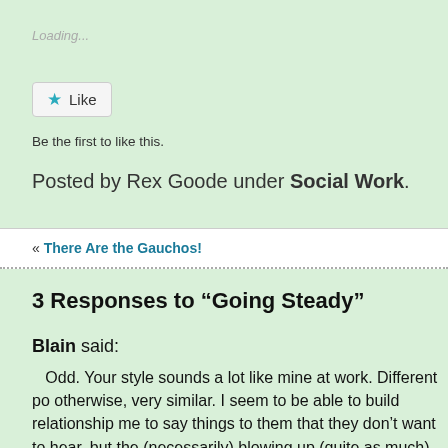Loading...
[Figure (other): Like button with star icon]
Be the first to like this.
Posted by Rex Goode under Social Work.
« There Are the Gauchos!
3 Responses to “Going Steady”
Blain said:
Odd. Your style sounds a lot like mine at work. Different po otherwise, very similar. I seem to be able to build relationship me to say things to them that they don’t want to hear, but the (necessarily) blowing up (quite as much). There’s some tricky stuff having to do with choosing what t to, and how to respond. A lot has to do with knowing where y don’t, and not pretending the contrary in the moment. There’ seems to reach people who have been lied to and manipulat